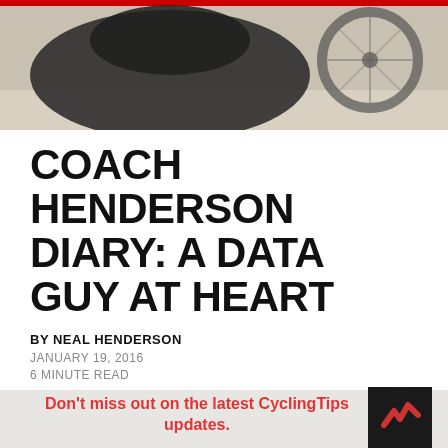[Figure (photo): Photo of a dark bag and bicycle wheel on pavement, with a red stripe at top]
COACH HENDERSON DIARY: A DATA GUY AT HEART
BY NEAL HENDERSON
JANUARY 19, 2016
6 MINUTE READ
Don't miss out on the latest CyclingTips updates.